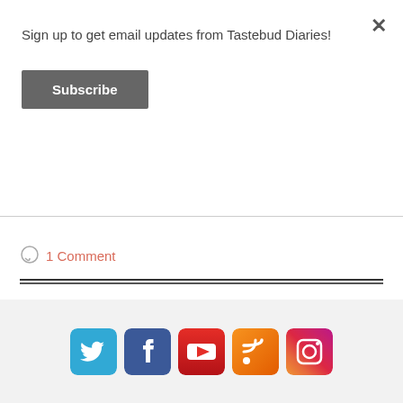Sign up to get email updates from Tastebud Diaries!
Subscribe
1 Comment
[Figure (infographic): Social media icons row: Twitter, Facebook, YouTube, RSS, Instagram]